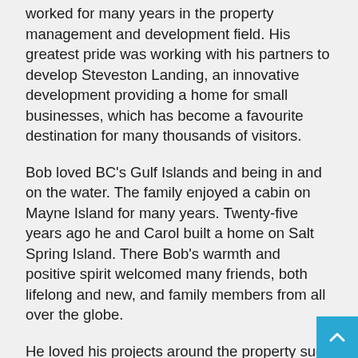worked for many years in the property management and development field. His greatest pride was working with his partners to develop Steveston Landing, an innovative development providing a home for small businesses, which has become a favourite destination for many thousands of visitors.
Bob loved BC's Gulf Islands and being in and on the water. The family enjoyed a cabin on Mayne Island for many years. Twenty-five years ago he and Carol built a home on Salt Spring Island. There Bob's warmth and positive spirit welcomed many friends, both lifelong and new, and family members from all over the globe.
He loved his projects around the property such as building arbours and sheds, and he left his daughters many treasured items of furniture created from wood scraps and branches. And then there were all the fires, indoors and out. He was also a dedicated under-gardener to Carol.